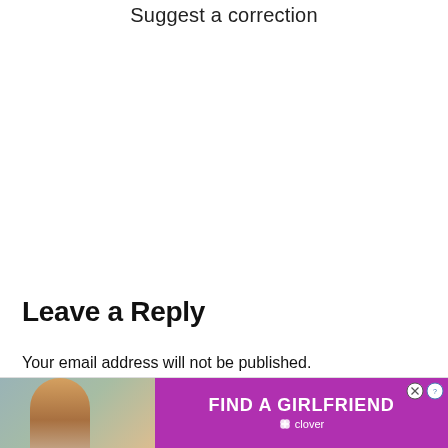Suggest a correction
Leave a Reply
Your email address will not be published.
Required fields are marked *
Com…
[Figure (other): Advertisement banner for 'Find a Girlfriend' by Clover app, with a photo of a woman on the left and purple background on the right with text 'FIND A GIRLFRIEND' and Clover branding. Has a close button (X) and help button (?).]